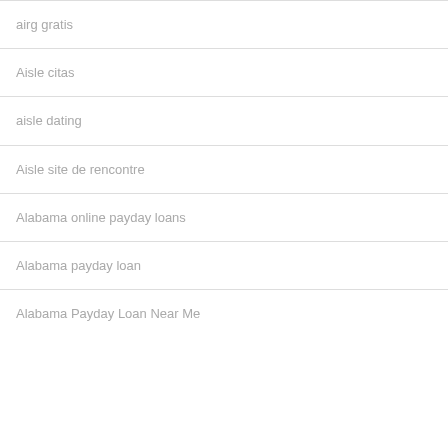airg gratis
Aisle citas
aisle dating
Aisle site de rencontre
Alabama online payday loans
Alabama payday loan
Alabama Payday Loan Near Me